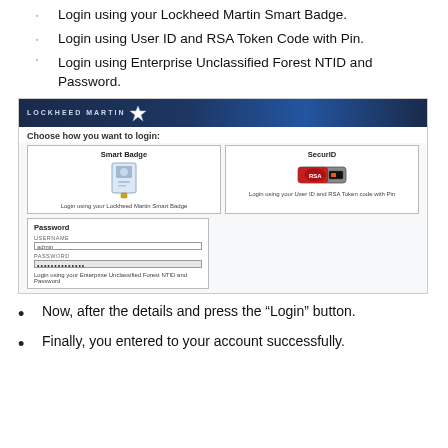Login using your Lockheed Martin Smart Badge.
Login using User ID and RSA Token Code with Pin.
Login using Enterprise Unclassified Forest NTID and Password.
[Figure (screenshot): Screenshot of Lockheed Martin login portal showing three login options: Smart Badge, SecurID, and Password (Enterprise Unclassified Forest NTID and Password).]
Now, after the details and press the “Login” button.
Finally, you entered to your account successfully.